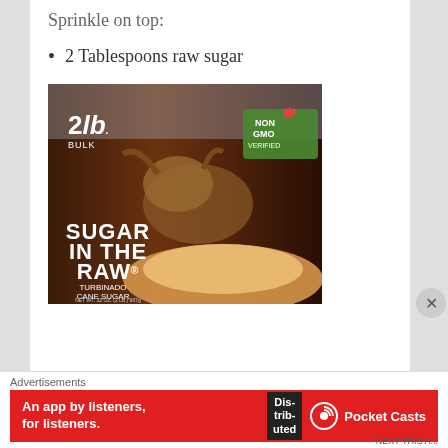Sprinkle on top:
2 Tablespoons raw sugar
[Figure (photo): A box of Sugar in the Raw Turbinado Cane Sugar, 2lb Bulk, with Non-GMO Project Verified label, placed on a kitchen counter]
Advertisements
[Figure (other): Advertisement banner for Pocket Casts app: 'An app by listeners, for listeners.' with Distributed text and Pocket Casts logo on red background]